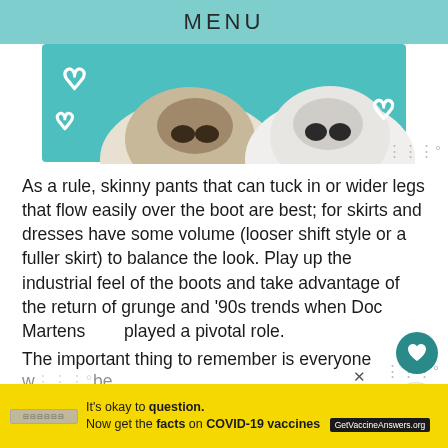MENU
[Figure (photo): Two dogs with white heart outlines on teal/turquoise background, showing snouts close up]
As a rule, skinny pants that can tuck in or wider legs that flow easily over the boot are best; for skirts and dresses have some volume (looser shift style or a fuller skirt) to balance the look. Play up the industrial feel of the boots and take advantage of the return of grunge and '90s trends when Doc Martens played a pivotal role.
The important thing to remember is everyone w...be
[Figure (infographic): Yellow advertisement bar: It's okay to question. Now get the facts on COVID-19 vaccines. GetVaccineAnswers.org]